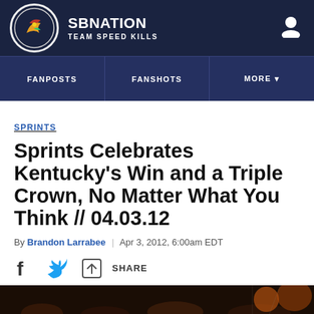SB NATION | TEAM SPEED KILLS
FANPOSTS | FANSHOTS | MORE
SPRINTS
Sprints Celebrates Kentucky's Win and a Triple Crown, No Matter What You Think // 04.03.12
By Brandon Larrabee | Apr 3, 2012, 6:00am EDT
SHARE